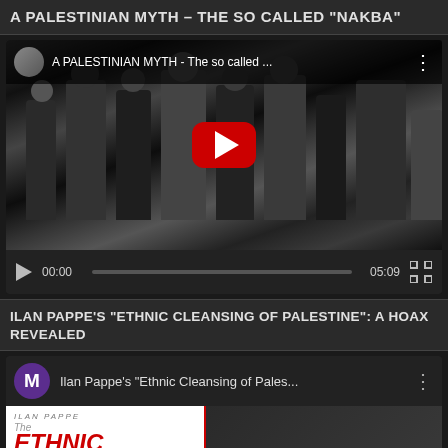A PALESTINIAN MYTH – THE SO CALLED "NAKBA"
[Figure (screenshot): YouTube video player showing a black and white historical crowd scene. Video title: 'A PALESTINIAN MYTH - The so called ...' Duration: 05:09, current time: 00:00. Red play button overlay visible.]
ILAN PAPPE'S "ETHNIC CLEANSING OF PALESTINE": A HOAX REVEALED
[Figure (screenshot): YouTube video thumbnail showing Ilan Pappe's 'Ethnic Cleansing of Pales...' with a purple M avatar icon and book cover showing 'ILAN PAPPE - The ETHNIC...']